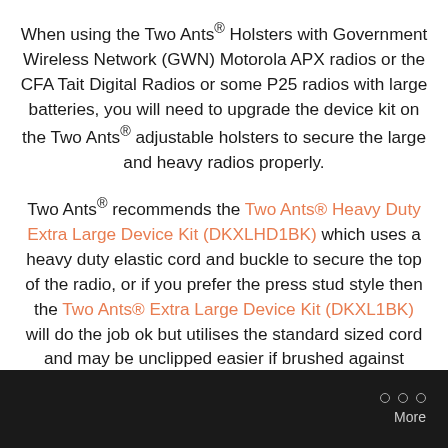When using the Two Ants® Holsters with Government Wireless Network (GWN) Motorola APX radios or the CFA Tait Digital Radios or some P25 radios with large batteries, you will need to upgrade the device kit on the Two Ants® adjustable holsters to secure the large and heavy radios properly.
Two Ants® recommends the Two Ants® Heavy Duty Extra Large Device Kit (DKXLHD1BK) which uses a heavy duty elastic cord and buckle to secure the top of the radio, or if you prefer the press stud style then the Two Ants® Extra Large Device Kit (DKXL1BK) will do the job ok but utilises the standard sized cord and may be unclipped easier if brushed against something.
○ ○ ○  More